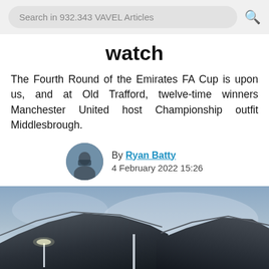Search in 932.343 VAVEL Articles
watch
The Fourth Round of the Emirates FA Cup is upon us, and at Old Trafford, twelve-time winners Manchester United host Championship outfit Middlesbrough.
By Ryan Batty
4 February 2022 15:26
[Figure (photo): Stadium photo of Old Trafford at dusk/evening, showing the stands and floodlights with a moody sky. Getty Images credit: Jack Thomas - WWFC]